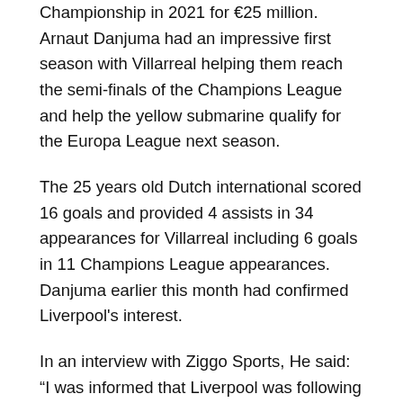Championship in 2021 for €25 million. Arnaut Danjuma had an impressive first season with Villarreal helping them reach the semi-finals of the Champions League and help the yellow submarine qualify for the Europa League next season.
The 25 years old Dutch international scored 16 goals and provided 4 assists in 34 appearances for Villarreal including 6 goals in 11 Champions League appearances. Danjuma earlier this month had confirmed Liverpool's interest.
In an interview with Ziggo Sports, He said: “I was informed that Liverpool was following me closely.
“I have never had contacts with clubs or anything like that during the season – I always know about the situation after the season.
[Figure (other): Social media sharing icons: Facebook, Twitter, Email, Print]
“I will never lie and I think it’s a bad quality if you are not